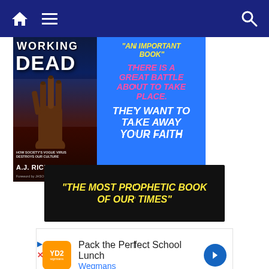Navigation bar with home, menu, and search icons
[Figure (illustration): Book advertisement banner for 'Working Dead' by A.J. Rice (foreword by Jason Mattera). Left half shows book cover with zombie hand rising in front of White House. Right half on blue background shows promotional text: 'AN IMPORTANT BOOK', 'THERE IS A GREAT BATTLE ABOUT TO TAKE PLACE.', 'THEY WANT TO TAKE AWAY YOUR FAITH']
[Figure (illustration): Black banner with yellow italic bold text: 'THE MOST PROPHETIC BOOK OF OUR TIMES']
[Figure (illustration): Advertisement for Wegmans: 'Pack the Perfect School Lunch' with Wegmans logo and navigation arrow icon]